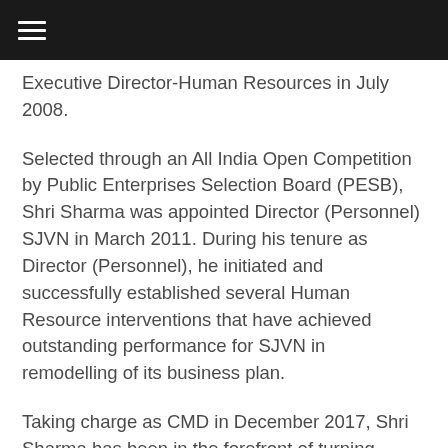Executive Director-Human Resources in July 2008.
Selected through an All India Open Competition by Public Enterprises Selection Board (PESB), Shri Sharma was appointed Director (Personnel) SJVN in March 2011. During his tenure as Director (Personnel), he initiated and successfully established several Human Resource interventions that have achieved outstanding performance for SJVN in remodelling of its business plan.
Taking charge as CMD in December 2017, Shri Sharma has been in the forefront of turning SJVN into a diversified multinational power company with operation and construction of projects in India,